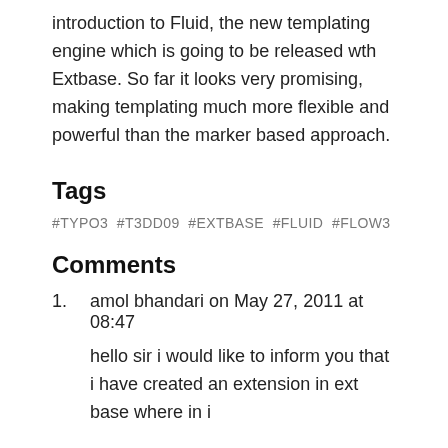introduction to Fluid, the new templating engine which is going to be released wth Extbase. So far it looks very promising, making templating much more flexible and powerful than the marker based approach.
Tags
#TYPO3  #T3DD09  #EXTBASE  #FLUID  #FLOW3
Comments
amol bhandari on May 27, 2011 at 08:47
hello sir i would like to inform you that i have created an extension in ext base where in i